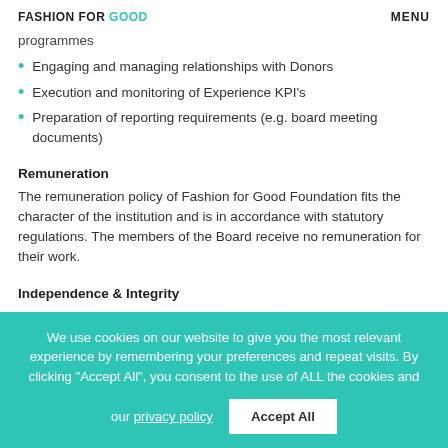FASHION FOR GOOD | MENU
programmes
Engaging and managing relationships with Donors
Execution and monitoring of Experience KPI's
Preparation of reporting requirements (e.g. board meeting documents)
Remuneration
The remuneration policy of Fashion for Good Foundation fits the character of the institution and is in accordance with statutory regulations. The members of the Board receive no remuneration for their work.
Independence & Integrity
We use cookies on our website to give you the most relevant experience by remembering your preferences and repeat visits. By clicking "Accept All", you consent to the use of ALL the cookies and our privacy policy